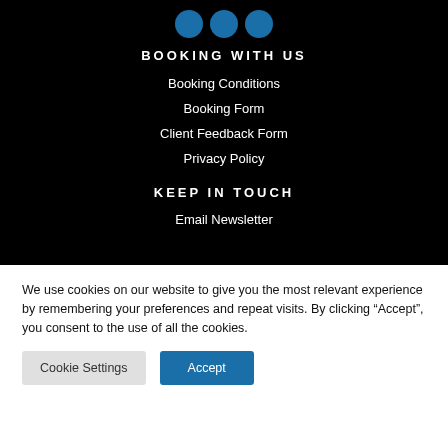[Figure (logo): Three blue circular social media icons at top]
BOOKING WITH US
Booking Conditions
Booking Form
Client Feedback Form
Privacy Policy
KEEP IN TOUCH
Email Newsletter
We use cookies on our website to give you the most relevant experience by remembering your preferences and repeat visits. By clicking “Accept”, you consent to the use of all the cookies.
Cookie Settings | Accept